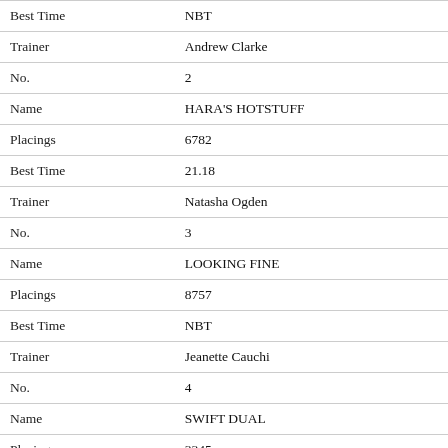| Field | Value |
| --- | --- |
| Best Time | NBT |
| Trainer | Andrew Clarke |
| No. | 2 |
| Name | HARA'S HOTSTUFF |
| Placings | 6782 |
| Best Time | 21.18 |
| Trainer | Natasha Ogden |
| No. | 3 |
| Name | LOOKING FINE |
| Placings | 8757 |
| Best Time | NBT |
| Trainer | Jeanette Cauchi |
| No. | 4 |
| Name | SWIFT DUAL |
| Placings | 3345 |
| Best Time | 20.41 |
| Trainer | Errol Kleinhans |